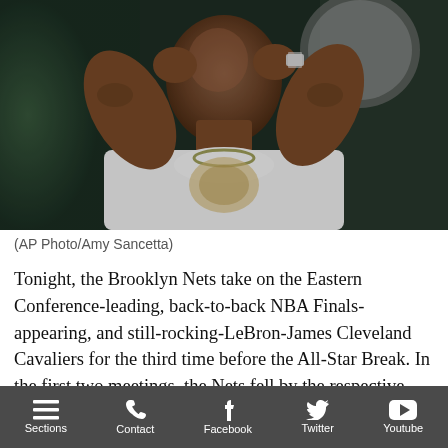[Figure (photo): A muscular man in a white sleeveless shirt with tattoos on his arms, head tilted back with eyes closed, hands behind his head, wearing jewelry, photographed against a dark green background.]
(AP Photo/Amy Sancetta)
Tonight, the Brooklyn Nets take on the Eastern Conference-leading, back-to-back NBA Finals-appearing, and still-rocking-LeBron-James Cleveland Cavaliers for the third time before the All-Star Break. In the first two meetings, the Nets fell by the respective scores of 20 and 8 points, is
Sections  Contact  Facebook  Twitter  Youtube